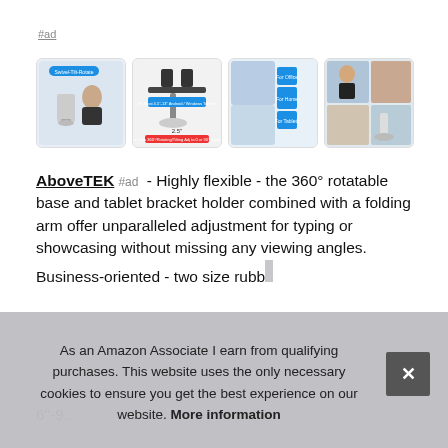#ad
[Figure (photo): Four product thumbnail images of a tablet stand/holder (AboveTEK brand) showing different angles and use cases.]
AboveTEK #ad - Highly flexible - the 360° rotatable base and tablet bracket holder combined with a folding arm offer unparalleled adjustment for typing or showcasing without missing any viewing angles. Business-oriented - two size rubb... or a... of 6... 6"-9...
As an Amazon Associate I earn from qualifying purchases. This website uses the only necessary cookies to ensure you get the best experience on our website. More information